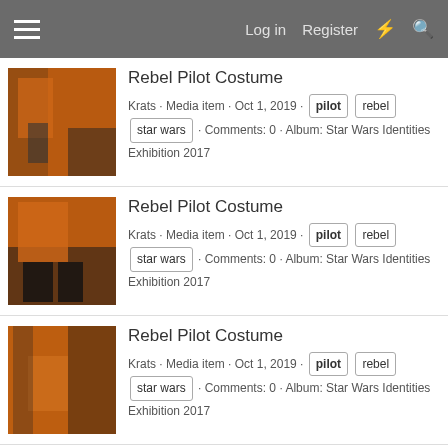Log in  Register
Rebel Pilot Costume
Krats · Media item · Oct 1, 2019 · pilot rebel star wars · Comments: 0 · Album: Star Wars Identities Exhibition 2017
Rebel Pilot Costume
Krats · Media item · Oct 1, 2019 · pilot rebel star wars · Comments: 0 · Album: Star Wars Identities Exhibition 2017
Rebel Pilot Costume
Krats · Media item · Oct 1, 2019 · pilot rebel star wars · Comments: 0 · Album: Star Wars Identities Exhibition 2017
Rebel Pilot Costume